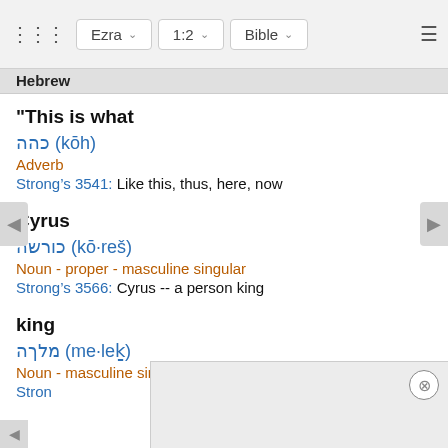Ezra | 1:2 | Bible
Hebrew
“This is what
כהה (kōh)
Adverb
Strong’s 3541: Like this, thus, here, now
Cyrus
כורש (kō·reš)
Noun - proper - masculine singular
Strong’s 3566: Cyrus -- a person king
king
מלך (me·leḵ)
Noun - masculine singular construct
Stron